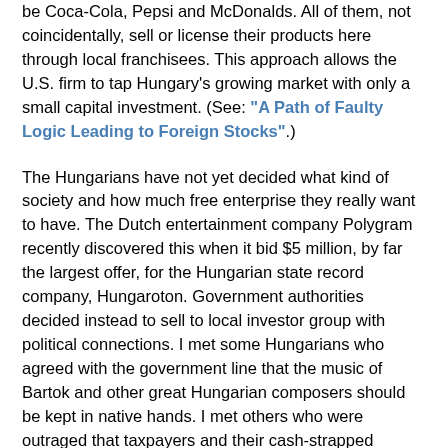be Coca-Cola, Pepsi and McDonalds. All of them, not coincidentally, sell or license their products here through local franchisees. This approach allows the U.S. firm to tap Hungary's growing market with only a small capital investment. (See: "A Path of Faulty Logic Leading to Foreign Stocks".)
The Hungarians have not yet decided what kind of society and how much free enterprise they really want to have. The Dutch entertainment company Polygram recently discovered this when it bid $5 million, by far the largest offer, for the Hungarian state record company, Hungaroton. Government authorities decided instead to sell to local investor group with political connections. I met some Hungarians who agreed with the government line that the music of Bartok and other great Hungarian composers should be kept in native hands. I met others who were outraged that taxpayers and their cash-strapped government were